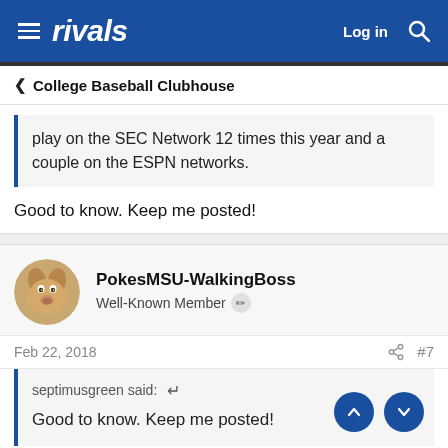rivals — Log in [search]
< College Baseball Clubhouse
play on the SEC Network 12 times this year and a couple on the ESPN networks.
Good to know. Keep me posted!
PokesMSU-WalkingBoss
Well-Known Member
Feb 22, 2018   #7
septimusgreen said:
Good to know. Keep me posted!